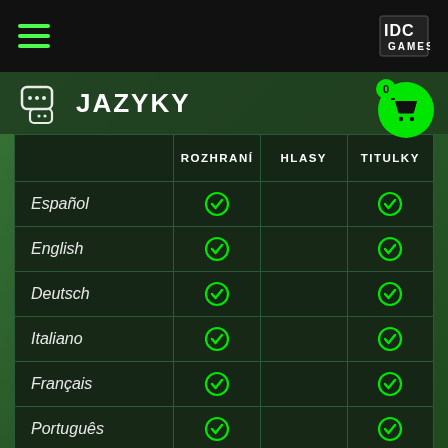IDC Games navigation header
JAZYKY
|  | ROZHRANÍ | HLASY | TITULKY |
| --- | --- | --- | --- |
| Español | ✓ |  | ✓ |
| English | ✓ |  | ✓ |
| Deutsch | ✓ |  | ✓ |
| Italiano | ✓ |  | ✓ |
| Français | ✓ |  | ✓ |
| Português | ✓ |  | ✓ |
| Русский | ✓ |  | ✓ |